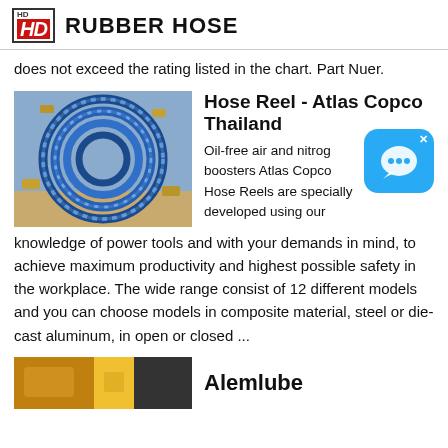HD RUBBER HOSE
does not exceed the rating listed in the chart. Part Nuer.
[Figure (photo): Coiled blue rubber hoses with brass fittings]
Hose Reel - Atlas Copco Thailand
Oil-free air and nitrogen boosters Atlas Copco Hose Reels are specially developed using our knowledge of power tools and with your demands in mind, to achieve maximum productivity and highest possible safety in the workplace. The wide range consist of 12 different models and you can choose models in composite material, steel or die-cast aluminum, in open or closed ...
[Figure (photo): Bottom partial image strip - yellow/dark equipment photo]
Alemlube